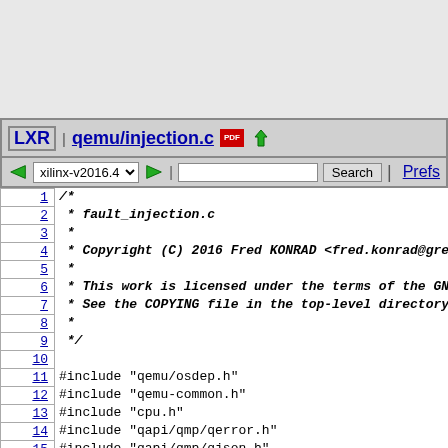LXR | qemu/injection.c
/* * fault_injection.c * * Copyright (C) 2016 Fred KONRAD <fred.konrad@gree... * * This work is licensed under the terms of the GNU... * See the COPYING file in the top-level directory. * */
#include "qemu/osdep.h"
#include "qemu-common.h"
#include "cpu.h"
#include "qapi/qmp/qerror.h"
#include "qapi/qmp/qjson.h"
#include "qmp-commands.h"
#include "qemu/timer.h"
#include "qapi-event.h"
#include "exec/memory.h"